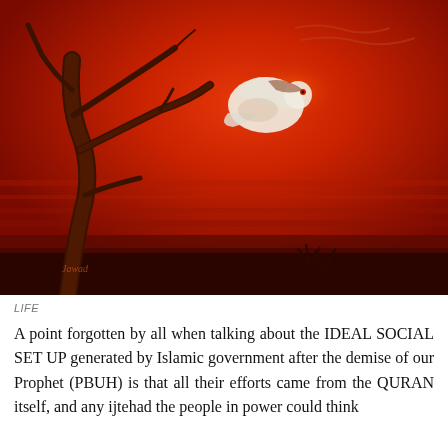[Figure (illustration): An oil painting with a deep red and orange background depicting a dramatic sunset scene. A bare, gnarled tree leans to the left. In the center floats a white bird or dove-like form with dark markings, possibly caught in wind. The lower portion is dark, silhouetted ground. A signature is visible in the lower left.]
LIFE
A point forgotten by all when talking about the IDEAL SOCIAL SET UP generated by Islamic government after the demise of our Prophet (PBUH) is that all their efforts came from the QURAN itself, and any ijtehad the people in power could think